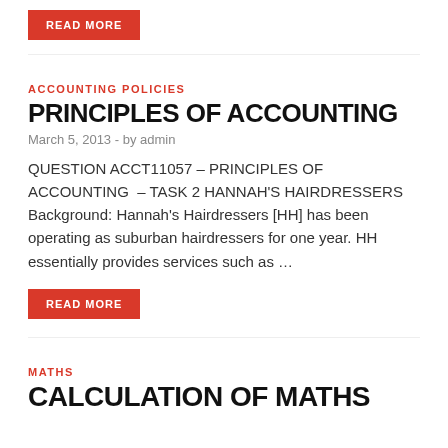READ MORE
ACCOUNTING POLICIES
PRINCIPLES OF ACCOUNTING
March 5, 2013  -  by admin
QUESTION ACCT11057 – PRINCIPLES OF ACCOUNTING – TASK 2 HANNAH'S HAIRDRESSERS Background: Hannah's Hairdressers [HH] has been operating as suburban hairdressers for one year. HH essentially provides services such as ...
READ MORE
MATHS
CALCULATION OF MATHS